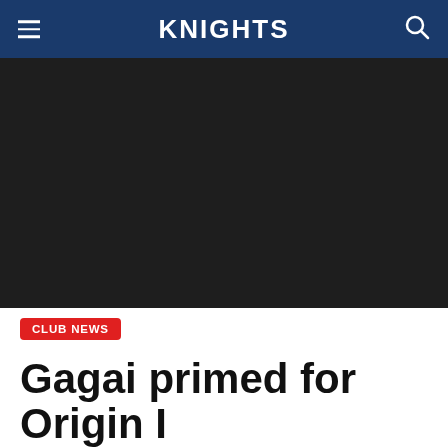KNIGHTS
[Figure (photo): Dark/black hero image area]
CLUB NEWS
Gagai primed for Origin I